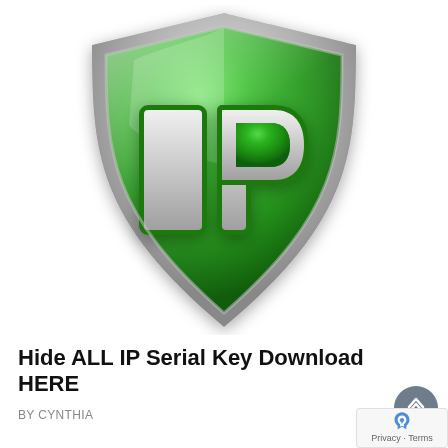[Figure (logo): Green shield logo with the letters 'IP' in large silver/white text on the front of the shield. The shield has a chrome/silver border and a glossy green surface with light reflections.]
Hide ALL IP Serial Key Download HERE
BY CYNTHIA